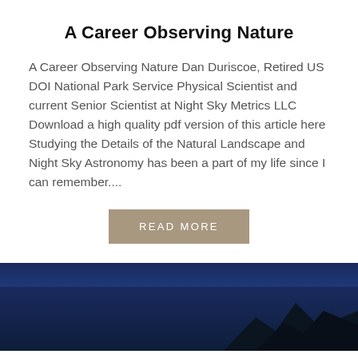A Career Observing Nature
A Career Observing Nature Dan Duriscoe, Retired US DOI National Park Service Physical Scientist and current Senior Scientist at Night Sky Metrics LLC Download a high quality pdf version of this article here Studying the Details of the Natural Landscape and Night Sky Astronomy has been a part of my life since I can remember....
READ MORE
[Figure (photo): Night sky photo showing dark blue gradient sky with mountain silhouette at the bottom]